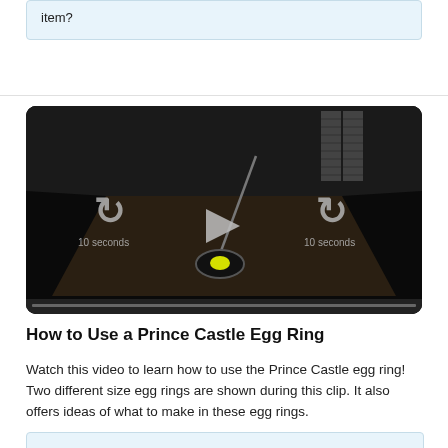item?
[Figure (screenshot): Video player showing an egg ring on a flat griddle surface, with a fried egg inside the ring. Controls include a play button in the center, rewind 10 seconds buttons on left and right labeled '10 seconds', on a dark background.]
How to Use a Prince Castle Egg Ring
Watch this video to learn how to use the Prince Castle egg ring! Two different size egg rings are shown during this clip. It also offers ideas of what to make in these egg rings.